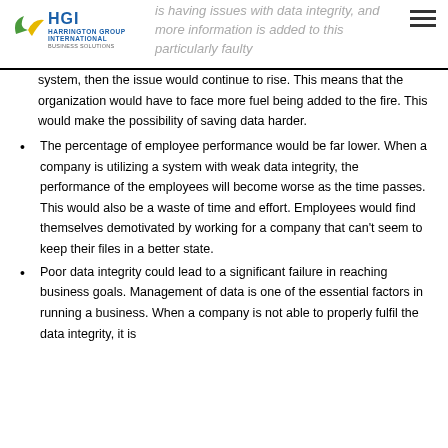HGI Harrington Group International Business Solutions — is having issues with data integrity, and more information is added to this particularly faulty
system, then the issue would continue to rise. This means that the organization would have to face more fuel being added to the fire. This would make the possibility of saving data harder.
The percentage of employee performance would be far lower. When a company is utilizing a system with weak data integrity, the performance of the employees will become worse as the time passes. This would also be a waste of time and effort. Employees would find themselves demotivated by working for a company that can't seem to keep their files in a better state.
Poor data integrity could lead to a significant failure in reaching business goals. Management of data is one of the essential factors in running a business. When a